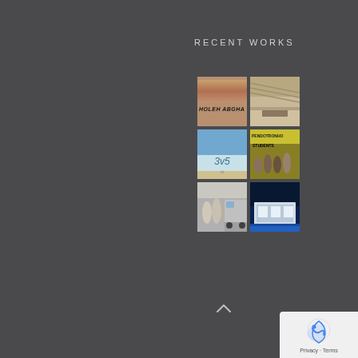RECENT WORKS
[Figure (photo): Grid of 6 thumbnail images showing recent portfolio works: text/typography image (HOLEH ABGHA), interior architectural space, beach scene with text, band/group photo (PENDOTRONHO/STUDENTS), workers with van, modern house at night with pool]
[Figure (other): Scroll-up arrow button]
[Figure (other): Google reCAPTCHA / Privacy badge with Privacy and Terms links]